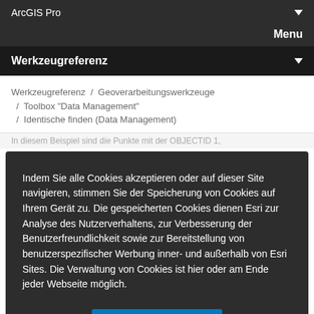ArcGIS Pro
Menu
Werkzeugreferenz
Werkzeugreferenz / Geoverarbeitungswerkzeuge / Toolbox "Data Management" / Identische finden (Data Management)
In diesem Beispiel sind die Punkte mit der OBJECTID 1,
Indem Sie alle Cookies akzeptieren oder auf dieser Site navigieren, stimmen Sie der Speicherung von Cookies auf Ihrem Gerät zu. Die gespeicherten Cookies dienen Esri zur Analyse des Nutzerverhaltens, zur Verbesserung der Benutzerfreundlichkeit sowie zur Bereitstellung von benutzerspezifischer Werbung inner- und außerhalb von Esri Sites. Die Verwaltung von Cookies ist hier oder am Ende jeder Webseite möglich.
Alle Cookies